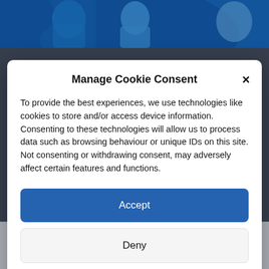[Figure (illustration): Blue and white decorative header image strip showing partial figures/logos on a blue background]
Manage Cookie Consent
To provide the best experiences, we use technologies like cookies to store and/or access device information. Consenting to these technologies will allow us to process data such as browsing behaviour or unique IDs on this site. Not consenting or withdrawing consent, may adversely affect certain features and functions.
Accept
Deny
View preferences
Cookie Policy   Privacy & Cookie Policy, Terms of Use
grants of up to £5,000 are available to charities and not-for-profit organisations with projects related to repairing, maintaining, improving or